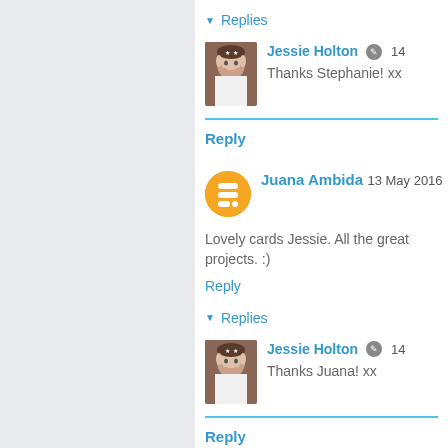▼ Replies
Jessie Holton 14 [date truncated]
Thanks Stephanie! xx
Reply
Juana Ambida 13 May 2016
Lovely cards Jessie. All the great projects. :)
Reply
▼ Replies
Jessie Holton 14 [date truncated]
Thanks Juana! xx
Reply